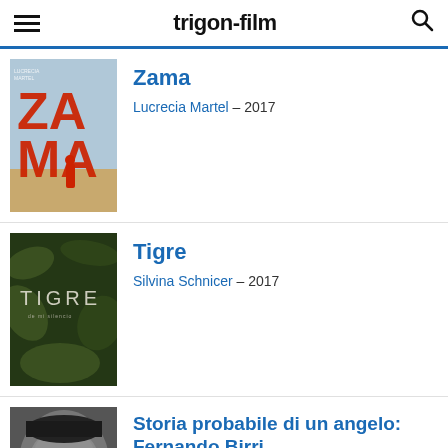trigon-film
[Figure (photo): Movie poster for Zama showing large red letters ZA MA with a figure in red coat on a beach]
Zama
Lucrecia Martel – 2017
[Figure (photo): Movie poster for Tigre showing dense jungle foliage with white text TIGRE]
Tigre
Silvina Schnicer – 2017
[Figure (photo): Close-up black and white photo of an elderly man wearing a dark hat]
Storia probabile di un angelo: Fernando Birri
Paolo Taggi Domenico Lucchini – 2017